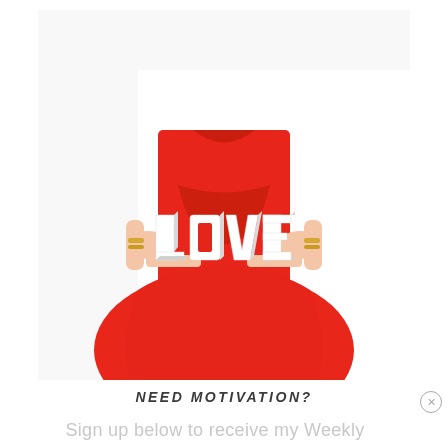[Figure (photo): A woman wearing a red dress holding white 3D letters spelling 'LOVE' out in front of her torso. She wears gold bracelets on both wrists. The background is white.]
NEED MOTIVATION?
Sign up below to receive my Weekly